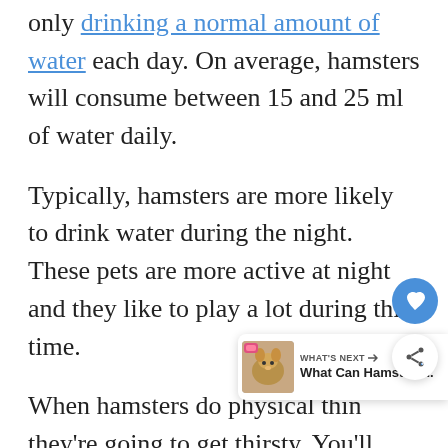only drinking a normal amount of water each day. On average, hamsters will consume between 15 and 25 ml of water daily.
Typically, hamsters are more likely to drink water during the night. These pets are more active at night and they like to play a lot during this time.
When hamsters do physical thing... they're going to get thirsty. You'll often